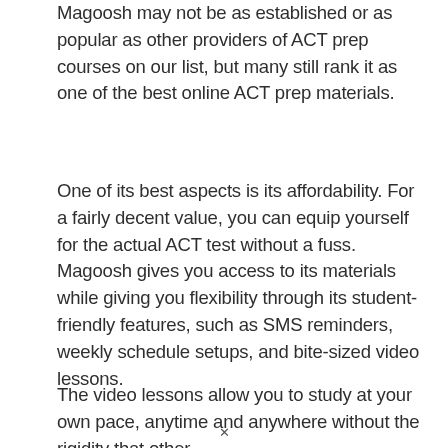Magoosh may not be as established or as popular as other providers of ACT prep courses on our list, but many still rank it as one of the best online ACT prep materials.
One of its best aspects is its affordability. For a fairly decent value, you can equip yourself for the actual ACT test without a fuss. Magoosh gives you access to its materials while giving you flexibility through its student-friendly features, such as SMS reminders, weekly schedule setups, and bite-sized video lessons.
The video lessons allow you to study at your own pace, anytime and anywhere without the rigidity that other